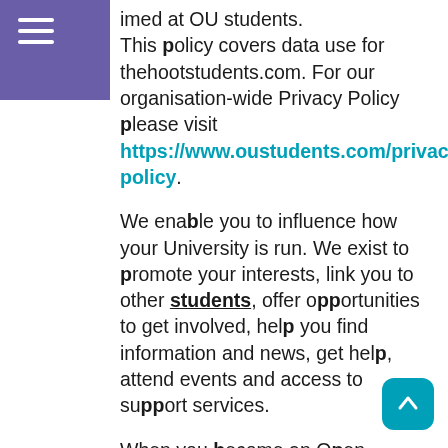≡
imed at OU students. This policy covers data use for thehootstudents.com. For our organisation-wide Privacy Policy please visit https://www.oustudents.com/privacy-policy.
We enable you to influence how your University is run. We exist to promote your interests, link you to other students, offer opportunities to get involved, help you find information and news, get help, attend events and access to support services.
When you become an Open University student, you automatically become part of the Open University Students Association.
("Services").